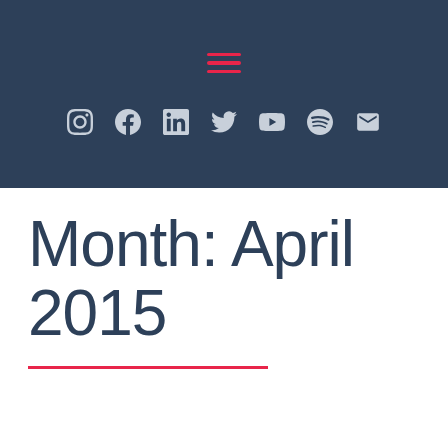[Navigation header with hamburger menu and social icons: Instagram, Facebook, LinkedIn, Twitter, YouTube, Spotify, Email]
Month: April 2015
When the Sun Shines on the Field